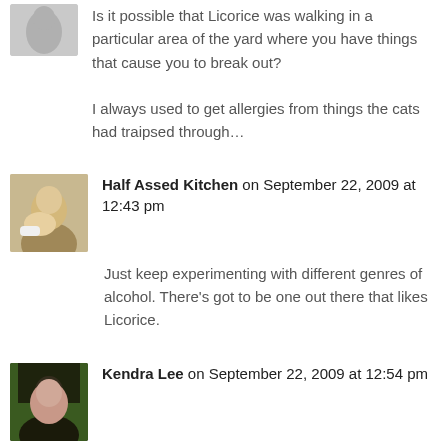Is it possible that Licorice was walking in a particular area of the yard where you have things that cause you to break out?

I always used to get allergies from things the cats had traipsed through...
Half Assed Kitchen on September 22, 2009 at 12:43 pm
Just keep experimenting with different genres of alcohol. There's got to be one out there that likes Licorice.
Kendra Lee on September 22, 2009 at 12:54 pm
Licorice is a GIN dog.